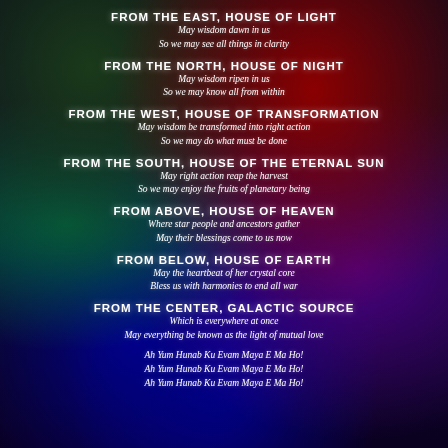FROM THE EAST, HOUSE OF LIGHT
May wisdom dawn in us
So we may see all things in clarity
FROM THE NORTH, HOUSE OF NIGHT
May wisdom ripen in us
So we may know all from within
FROM THE WEST, HOUSE OF TRANSFORMATION
May wisdom be transformed into right action
So we may do what must be done
FROM THE SOUTH, HOUSE OF THE ETERNAL SUN
May right action reap the harvest
So we may enjoy the fruits of planetary being
FROM ABOVE, HOUSE OF HEAVEN
Where star people and ancestors gather
May their blessings come to us now
FROM BELOW, HOUSE OF EARTH
May the heartbeat of her crystal core
Bless us with harmonies to end all war
FROM THE CENTER, GALACTIC SOURCE
Which is everywhere at once
May everything be known as the light of mutual love
Ah Yum Hunab Ku Evam Maya E Ma Ho!
Ah Yum Hunab Ku Evam Maya E Ma Ho!
Ah Yum Hunab Ku Evam Maya E Ma Ho!